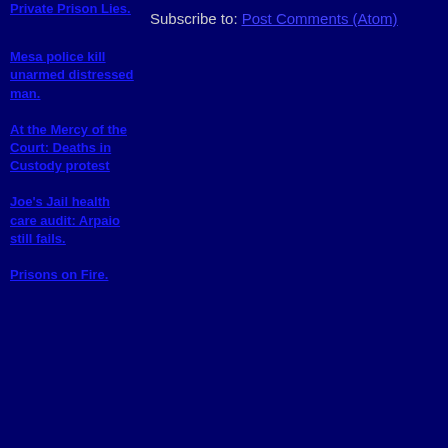Private Prison Lies.
Subscribe to: Post Comments (Atom)
Mesa police kill unarmed distressed man.
At the Mercy of the Court: Deaths in Custody protest
Joe's Jail health care audit: Arpaio still fails.
Prisons on Fire.